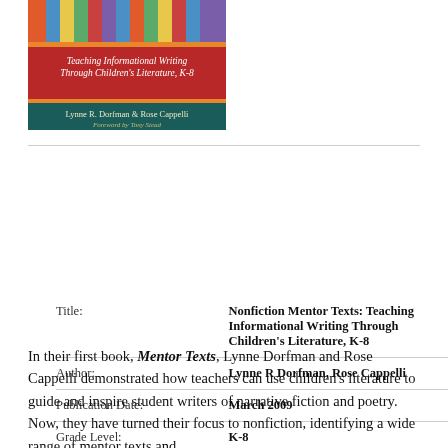[Figure (illustration): Book cover of 'Nonfiction Mentor Texts: Teaching Informational Writing Through Children's Literature, K-8' by Lynne R. Dorfman and Rose Cappelli, Foreword by Tony Stead. Cover shows colorful pencils at top, red band with title text, and dark teal band with author names.]
| Title: | Nonfiction Mentor Texts: Teaching Informational Writing Through Children's Literature, K-8 |
| Author: | Lynne R Dorfman, Rose Cappelli |
| Publication Date: | March 2009 |
| Grade Level: | K-8 |
| ISBN: | 9781571104960 |
| Publisher: | Stenhouse |
In their first book, Mentor Texts, Lynne Dorfman and Rose Cappelli demonstrated how teachers can use children's literature to guide and inspire student writers of narrative fiction and poetry. Now, they have turned their focus to nonfiction, identifying a wide range of mentor texts and